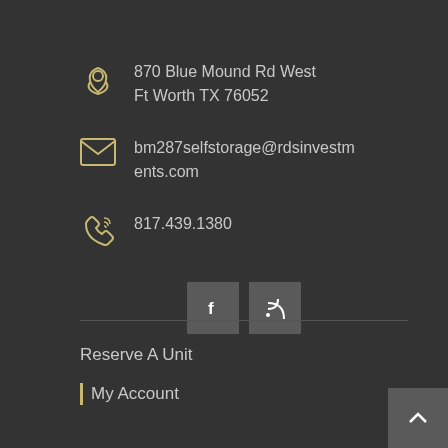870 Blue Mound Rd West
Ft Worth TX 76052
bm287selfstorage@rdsinvestments.com
817.439.1380
[Figure (other): Social media buttons: Facebook (f) and RSS feed icons]
Reserve A Unit
My Account